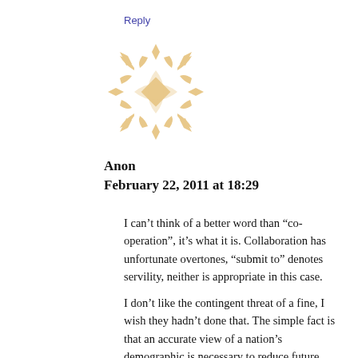Reply
[Figure (illustration): Decorative snowflake/knot avatar icon in light tan/gold color]
Anon
February 22, 2011 at 18:29
I can’t think of a better word than “co-operation”, it’s what it is. Collaboration has unfortunate overtones, “submit to” denotes servility, neither is appropriate in this case.
I don’t like the contingent threat of a fine, I wish they hadn’t done that. The simple fact is that an accurate view of a nation’s demographic is necessary to reduce future expenditure. Is that a bad thing?